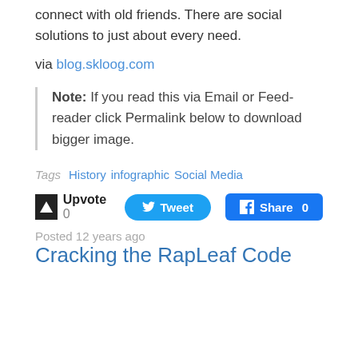connect with old friends. There are social solutions to just about every need.
via blog.skloog.com
Note: If you read this via Email or Feed-reader click Permalink below to download bigger image.
Tags  History  infographic  Social Media
Upvote 0   Tweet   Share 0
Posted 12 years ago
Cracking the RapLeaf Code